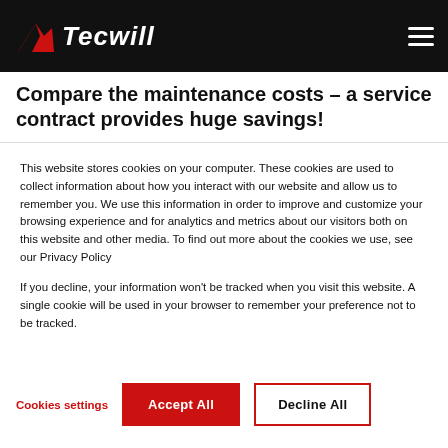Tecwill
Compare the maintenance costs - a service contract provides huge savings!
This website stores cookies on your computer. These cookies are used to collect information about how you interact with our website and allow us to remember you. We use this information in order to improve and customize your browsing experience and for analytics and metrics about our visitors both on this website and other media. To find out more about the cookies we use, see our Privacy Policy
If you decline, your information won't be tracked when you visit this website. A single cookie will be used in your browser to remember your preference not to be tracked.
Cookies settings | Accept All | Decline All